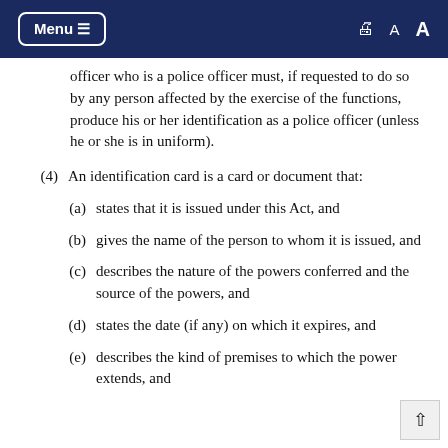Menu ☰   🖨 A A
officer who is a police officer must, if requested to do so by any person affected by the exercise of the functions, produce his or her identification as a police officer (unless he or she is in uniform).
(4)  An identification card is a card or document that:
(a)  states that it is issued under this Act, and
(b)  gives the name of the person to whom it is issued, and
(c)  describes the nature of the powers conferred and the source of the powers, and
(d)  states the date (if any) on which it expires, and
(e)  describes the kind of premises to which the power extends, and